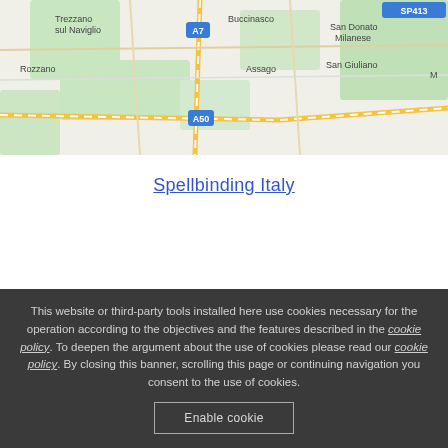[Figure (map): Google Maps view of southern Milan area showing Buccinasco, Assago, San Donato Milanese, San Giuliano Milanese, Trezzano sul Naviglio, Rozzano. Road A7 and A50 visible. Green areas indicating parks.]
Spellbinding Italy
This website or third-party tools installed here use cookies necessary for the operation according to the objectives and the features described in the cookie policy. To deepen the argument about the use of cookies please read our cookie policy. By closing this banner, scrolling this page or continuing navigation you consent to the use of cookies.
Enable cookie